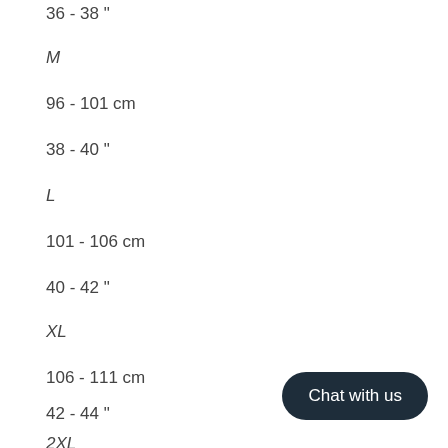36 - 38 "
M
96 - 101 cm
38 - 40 "
L
101 - 106 cm
40 - 42 "
XL
106 - 111 cm
42 - 44 "
2XL
Chat with us